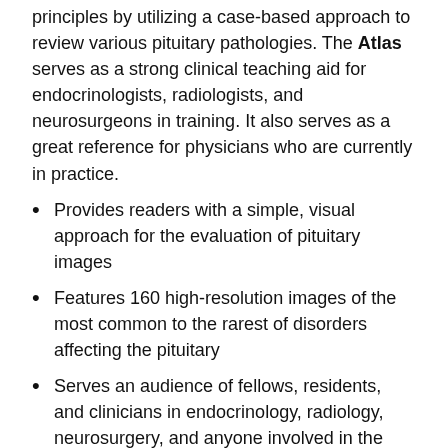principles by utilizing a case-based approach to review various pituitary pathologies. The Atlas serves as a strong clinical teaching aid for endocrinologists, radiologists, and neurosurgeons in training. It also serves as a great reference for physicians who are currently in practice.
Provides readers with a simple, visual approach for the evaluation of pituitary images
Features 160 high-resolution images of the most common to the rarest of disorders affecting the pituitary
Serves an audience of fellows, residents, and clinicians in endocrinology, radiology, neurosurgery, and anyone involved in the multidisciplinary diagnosis of pituitary disease
About the Author
Dr. Pantalone is a board certified Associate Staff Endocrinologist at Cleveland Clinic in Cleveland, Ohio. He currently serves as the Director of Clinical Research in the